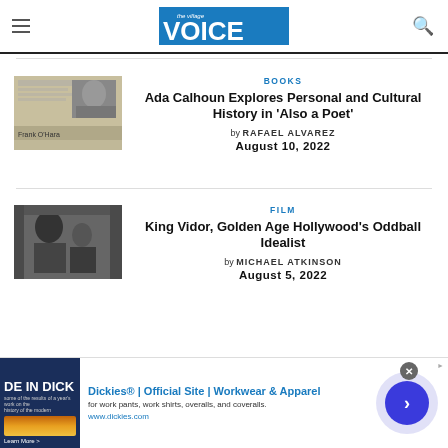The Village Voice
BOOKS
Ada Calhoun Explores Personal and Cultural History in 'Also a Poet'
by RAFAEL ALVAREZ
August 10, 2022
FILM
King Vidor, Golden Age Hollywood's Oddball Idealist
by MICHAEL ATKINSON
August 5, 2022
[Figure (other): Advertisement banner for Dickies workwear]